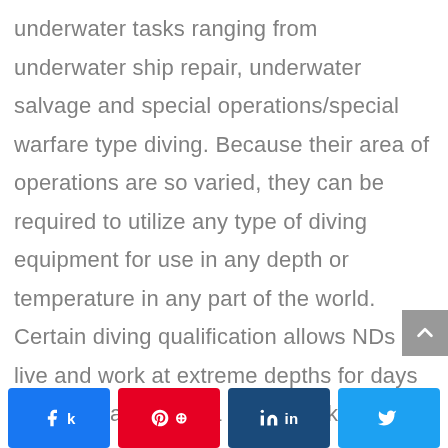underwater tasks ranging from underwater ship repair, underwater salvage and special operations/special warfare type diving. Because their area of operations are so varied, they can be required to utilize any type of diving equipment for use in any depth or temperature in any part of the world. Certain diving qualification allows NDs to live and work at extreme depths for days or weeks at a time, a discipline known as